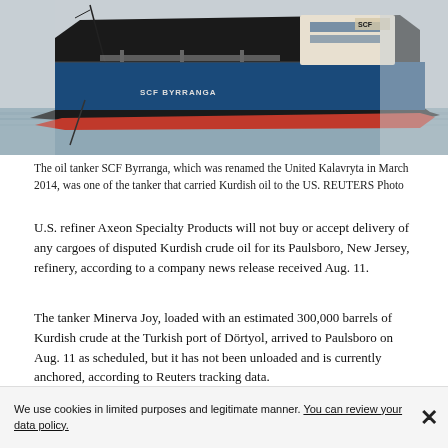[Figure (photo): Oil tanker SCF Byrranga at sea, a large vessel with black hull above waterline and red hull below, name 'SCF BYRRANGA' visible on bow, SCF logo on superstructure]
The oil tanker SCF Byrranga, which was renamed the United Kalavryta in March 2014, was one of the tanker that carried Kurdish oil to the US. REUTERS Photo
U.S. refiner Axeon Specialty Products will not buy or accept delivery of any cargoes of disputed Kurdish crude oil for its Paulsboro, New Jersey, refinery, according to a company news release received Aug. 11.
The tanker Minerva Joy, loaded with an estimated 300,000 barrels of Kurdish crude at the Turkish port of Dörtyol, arrived to Paulsboro on Aug. 11 as scheduled, but it has not been unloaded and is currently anchored, according to Reuters tracking data.
We use cookies in limited purposes and legitimate manner. You can review your data policy.